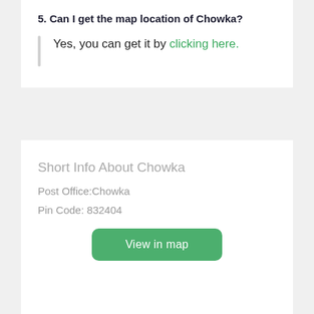5. Can I get the map location of Chowka?
Yes, you can get it by clicking here.
Short Info About Chowka
Post Office:Chowka
Pin Code: 832404
View in map